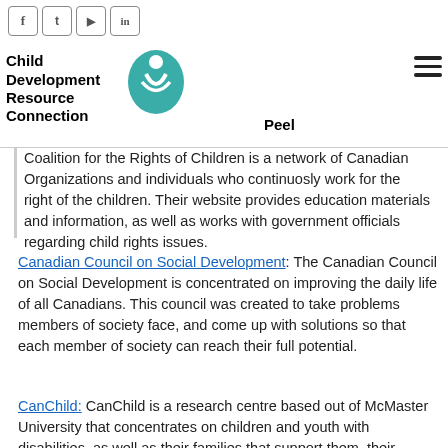Child Development Resource Connection Peel — with social icons (f, t, YouTube, in) and hamburger menu
Coalition for the Rights of Children is a network of Canadian Organizations and individuals who continuosly work for the right of the children. Their website provides education materials and information, as well as works with government officials regarding child rights issues.
Canadian Council on Social Development: The Canadian Council on Social Development is concentrated on improving the daily life of all Canadians. This council was created to take problems members of society face, and come up with solutions so that each member of society can reach their full potential.
CanChild: CanChild is a research centre based out of McMaster University that concentrates on children and youth with disabilities, as well as their families that support them. their website is a great source for information and